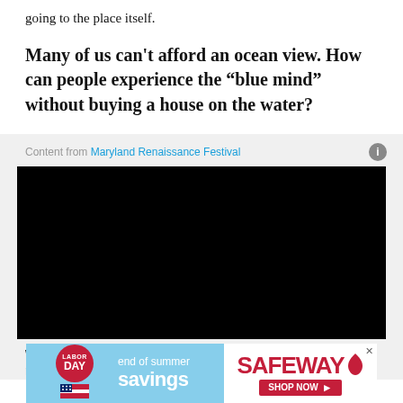going to the place itself.
Many of us can’t afford an ocean view. How can people experience the “blue mind” without buying a house on the water?
Content from Maryland Renaissance Festival
[Figure (other): Black video player embed]
What can a Renaissance farmer teach us about the stock market?
[Figure (other): Safeway end of summer savings Labor Day advertisement banner]